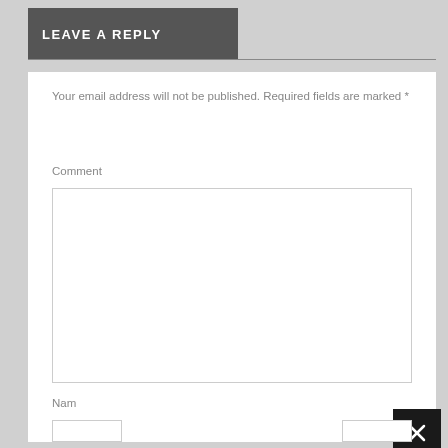LEAVE A REPLY
Your email address will not be published. Required fields are marked *
Comment
[Figure (screenshot): Comment textarea input field with a black X close button in the upper right area]
Nam